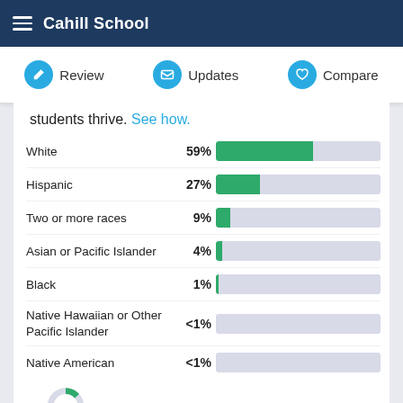Cahill School
Review | Updates | Compare
students thrive. See how.
[Figure (bar-chart): Ethnicity breakdown – Cahill School]
[Figure (donut-chart): Partial donut chart visible at bottom of page]